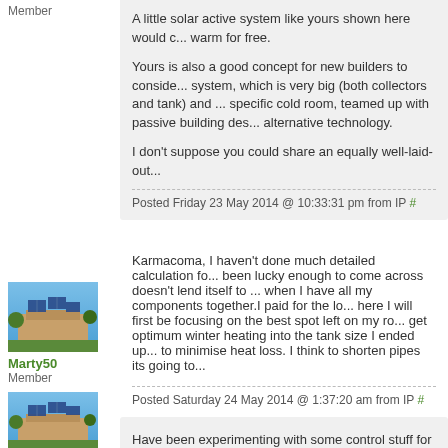Member
A little solar active system like yours shown here would c... warm for free.
Yours is also a good concept for new builders to conside... system, which is very big (both collectors and tank) and ... specific cold room, teamed up with passive building des... alternative technology.
I don't suppose you could share an equally well-laid-out...
Posted Friday 23 May 2014 @ 10:33:31 pm from IP #
[Figure (photo): Avatar photo of user Marty50 showing rooftop solar panels on a building]
Marty50
Member
Karmacoma, I haven't done much detailed calculation fo... been lucky enough to come across doesn't lend itself to ... when I have all my components together.I paid for the lo... here I will first be focusing on the best spot left on my ro... get optimum winter heating into the tank size I ended up... to minimise heat loss. I think to shorten pipes its going to...
Posted Saturday 24 May 2014 @ 1:37:20 am from IP #
[Figure (photo): Avatar photo of user showing rooftop solar panels on a building]
Have been experimenting with some control stuff for my...